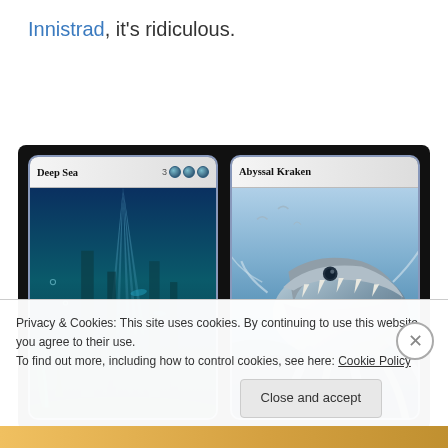Innistrad, it's ridiculous.
[Figure (illustration): Two Magic: The Gathering cards side by side on a dark background. Left card titled 'Deep Sea' with mana cost '3' plus three blue mana symbols, showing underwater scene with sunrays through water, ruins, and aquatic life. Right card titled 'Abyssal Kraken' showing a large sea monster with open jaws and tentacles in blue-white ocean water.]
Privacy & Cookies: This site uses cookies. By continuing to use this website, you agree to their use.
To find out more, including how to control cookies, see here: Cookie Policy
Close and accept